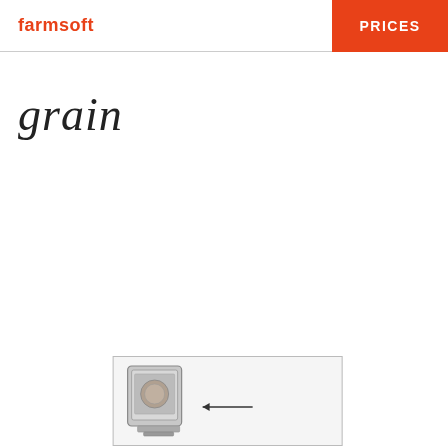farmsoft | PRICES
grain
[Figure (illustration): A boxed illustration showing a computer/device unit with an arrow pointing left, partially visible in a bordered rectangle at the bottom of the page.]